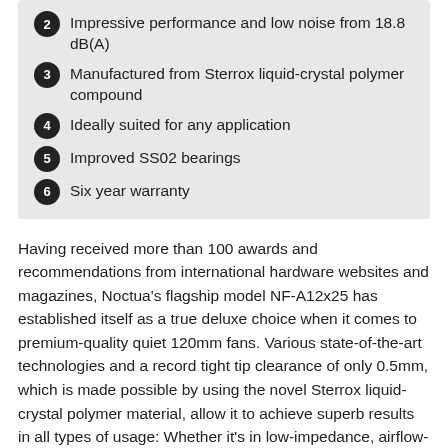2 Impressive performance and low noise from 18.8 dB(A)
3 Manufactured from Sterrox liquid-crystal polymer compound
4 Ideally suited for any application
5 Improved SS02 bearings
6 Six year warranty
Having received more than 100 awards and recommendations from international hardware websites and magazines, Noctua's flagship model NF-A12x25 has established itself as a true deluxe choice when it comes to premium-quality quiet 120mm fans. Various state-of-the-art technologies and a record tight tip clearance of only 0.5mm, which is made possible by using the novel Sterrox liquid-crystal polymer material, allow it to achieve superb results in all types of usage: Whether it's in low-impedance, airflow-oriented applications such as case cooling, or high-impedance, pressure-demanding scenarios such as on heatsinks and watercooling radiators, the NF-A12x25 is a